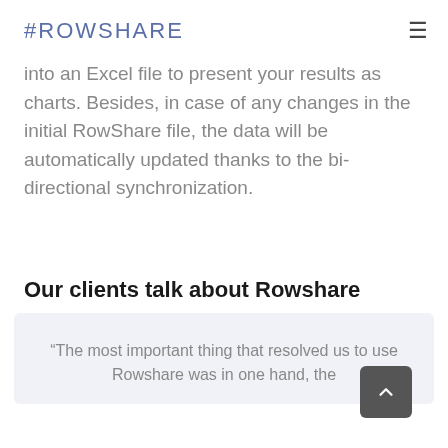#ROWSHARE
into an Excel file to present your results as charts. Besides, in case of any changes in the initial RowShare file, the data will be automatically updated thanks to the bi-directional synchronization.
Our clients talk about Rowshare
“The most important thing that resolved us to use Rowshare was in one hand, the